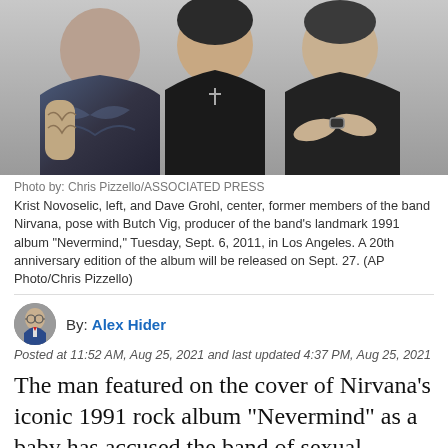[Figure (photo): Three people posing together against a wall — Krist Novoselic (left), Dave Grohl (center), and Butch Vig (right)]
Photo by: Chris Pizzello/ASSOCIATED PRESS
Krist Novoselic, left, and Dave Grohl, center, former members of the band Nirvana, pose with Butch Vig, producer of the band's landmark 1991 album "Nevermind," Tuesday, Sept. 6, 2011, in Los Angeles. A 20th anniversary edition of the album will be released on Sept. 27. (AP Photo/Chris Pizzello)
By: Alex Hider
Posted at 11:52 AM, Aug 25, 2021 and last updated 4:37 PM, Aug 25, 2021
The man featured on the cover of Nirvana's iconic 1991 rock album "Nevermind" as a baby has accused the band of sexual exploitation and violating federal